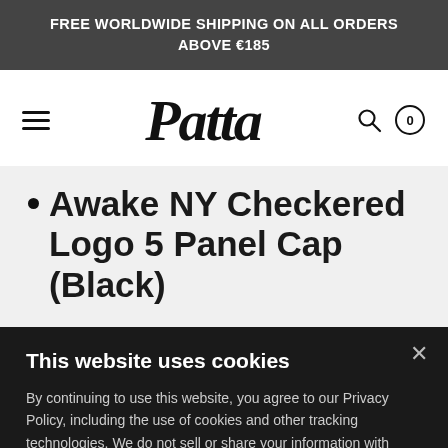FREE WORLDWIDE SHIPPING ON ALL ORDERS ABOVE €185
[Figure (logo): Patta brand logo in stylized italic script]
Awake NY Checkered Logo 5 Panel Cap (Black)
This website uses cookies
By continuing to use this website, you agree to our Privacy Policy, including the use of cookies and other tracking technologies. We do not sell or share your information with anyone else. Privacy Policy